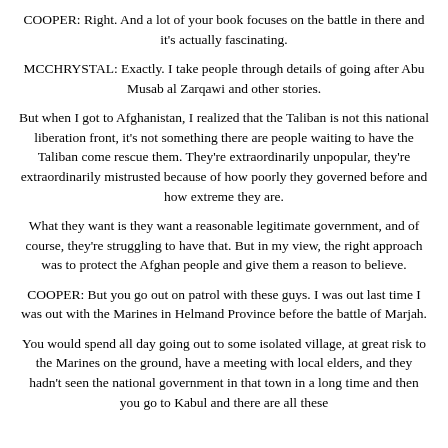COOPER: Right. And a lot of your book focuses on the battle in there and it's actually fascinating.
MCCHRYSTAL: Exactly. I take people through details of going after Abu Musab al Zarqawi and other stories.
But when I got to Afghanistan, I realized that the Taliban is not this national liberation front, it's not something there are people waiting to have the Taliban come rescue them. They're extraordinarily unpopular, they're extraordinarily mistrusted because of how poorly they governed before and how extreme they are.
What they want is they want a reasonable legitimate government, and of course, they're struggling to have that. But in my view, the right approach was to protect the Afghan people and give them a reason to believe.
COOPER: But you go out on patrol with these guys. I was out last time I was out with the Marines in Helmand Province before the battle of Marjah.
You would spend all day going out to some isolated village, at great risk to the Marines on the ground, have a meeting with local elders, and they hadn't seen the national government in that town in a long time and then you go to Kabul and there are all these